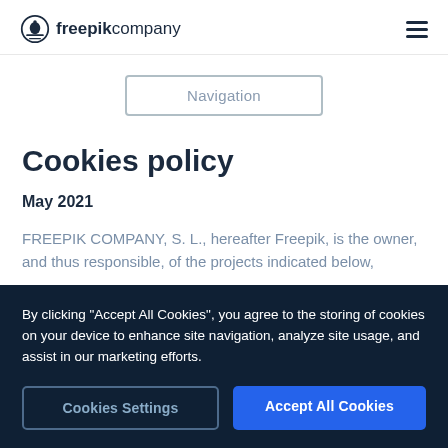freepik company
Navigation
Cookies policy
May 2021
FREEPIK COMPANY, S. L., hereafter Freepik, is the owner, and thus responsible, of the projects indicated below,
By clicking "Accept All Cookies", you agree to the storing of cookies on your device to enhance site navigation, analyze site usage, and assist in our marketing efforts.
Cookies Settings
Accept All Cookies